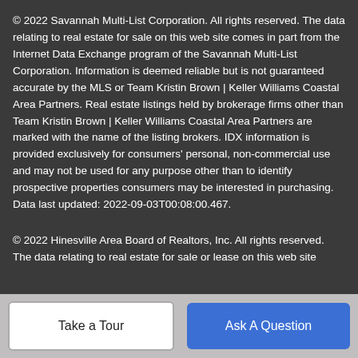© 2022 Savannah Multi-List Corporation. All rights reserved. The data relating to real estate for sale on this web site comes in part from the Internet Data Exchange program of the Savannah Multi-List Corporation. Information is deemed reliable but is not guaranteed accurate by the MLS or Team Kristin Brown | Keller Williams Coastal Area Partners. Real estate listings held by brokerage firms other than Team Kristin Brown | Keller Williams Coastal Area Partners are marked with the name of the listing brokers. IDX information is provided exclusively for consumers' personal, non-commercial use and may not be used for any purpose other than to identify prospective properties consumers may be interested in purchasing. Data last updated: 2022-09-03T00:08:00.467.
© 2022 Hinesville Area Board of Realtors, Inc. All rights reserved. The data relating to real estate for sale or lease on this web site
Take a Tour | Ask A Question